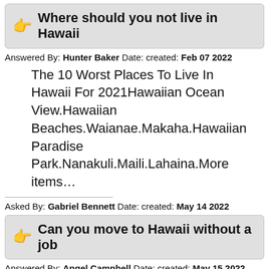Where should you not live in Hawaii
Answered By: Hunter Baker Date: created: Feb 07 2022
The 10 Worst Places To Live In Hawaii For 2021Hawaiian Ocean View.Hawaiian Beaches.Waianae.Makaha.Hawaiian Paradise Park.Nanakuli.Maili.Lahaina.More items…
Asked By: Gabriel Bennett Date: created: May 14 2022
Can you move to Hawaii without a job
Answered By: Angel Campbell Date: created: May 15 2022
It's much easier to start on Oahu and transition to another island from there